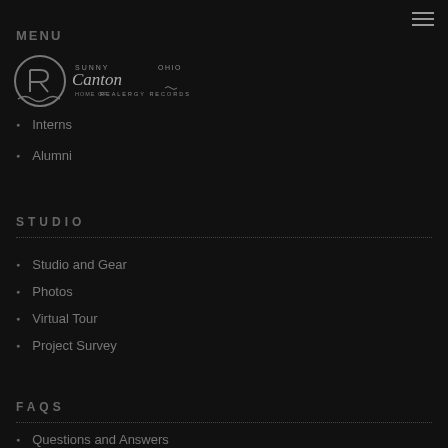[Figure (logo): Sunny Canton Ohio Realergy Records circular logo with stylized text]
Interns
Alumni
STUDIO
Studio and Gear
Photos
Virtual Tour
Project Survey
FAQS
Questions and Answers